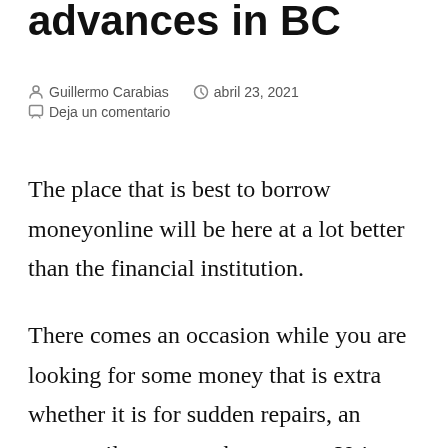advances in BC
Guillermo Carabias   abril 23, 2021
Deja un comentario
The place that is best to borrow moneyonline will be here at a lot better than the financial institution.
There comes an occasion while you are looking for some money that is extra whether it is for sudden repairs, an urgent ailment, or other reason. Using that loan from a bank